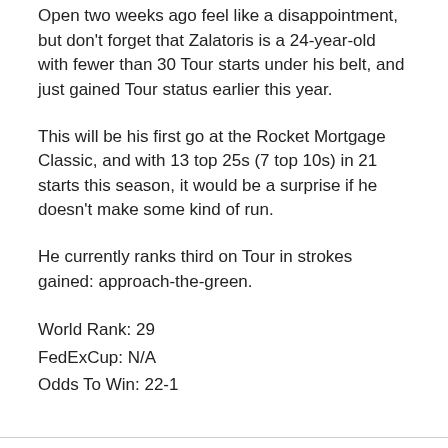Open two weeks ago feel like a disappointment, but don't forget that Zalatoris is a 24-year-old with fewer than 30 Tour starts under his belt, and just gained Tour status earlier this year.
This will be his first go at the Rocket Mortgage Classic, and with 13 top 25s (7 top 10s) in 21 starts this season, it would be a surprise if he doesn't make some kind of run.
He currently ranks third on Tour in strokes gained: approach-the-green.
World Rank: 29
FedExCup: N/A
Odds To Win: 22-1